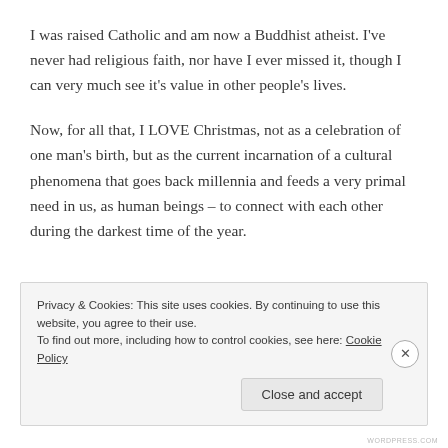I was raised Catholic and am now a Buddhist atheist. I've never had religious faith, nor have I ever missed it, though I can very much see it's value in other people's lives.
Now, for all that, I LOVE Christmas, not as a celebration of one man's birth, but as the current incarnation of a cultural phenomena that goes back millennia and feeds a very primal need in us, as human beings – to connect with each other during the darkest time of the year.
Privacy & Cookies: This site uses cookies. By continuing to use this website, you agree to their use.
To find out more, including how to control cookies, see here: Cookie Policy
Close and accept